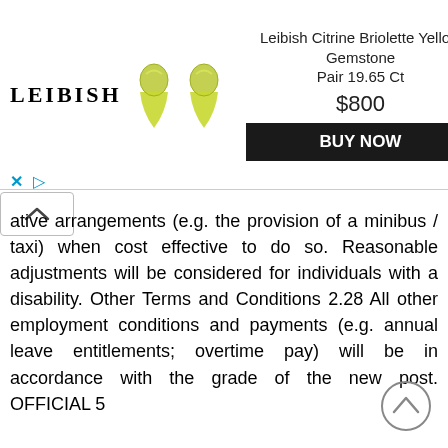[Figure (other): Advertisement banner for Leibish Citrine Briolette Yellow Gemstone Pair 19.65 Ct priced at $800 with a BUY NOW button, showing LEIBISH logo and two yellow teardrop gemstone images.]
ative arrangements (e.g. the provision of a minibus / taxi) when cost effective to do so. Reasonable adjustments will be considered for individuals with a disability. Other Terms and Conditions 2.28 All other employment conditions and payments (e.g. annual leave entitlements; overtime pay) will be in accordance with the grade of the new post. OFFICIAL 5